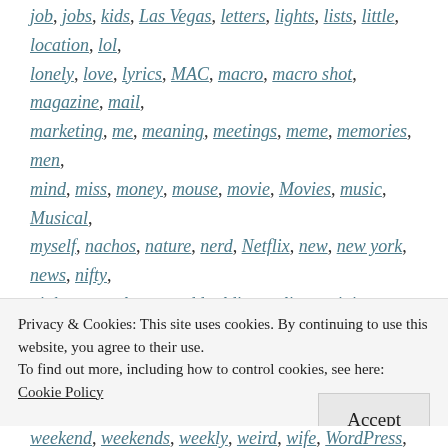job, jobs, kids, Las Vegas, letters, lights, lists, little, location, lol, lonely, love, lyrics, MAC, macro, macro shot, magazine, mail, marketing, me, meaning, meetings, meme, memories, men, mind, miss, money, mouse, movie, Movies, music, Musical, myself, nachos, nature, nerd, Netflix, new, new york, news, nifty, night, normal, note, odd, oldies, online, opinions, other, pain, parties, party, past, paypal, pc, personal, pet, photo, photographer, photographs, Photos, photoshop, Pictures, planning, play, playlist, pop, post, posters, posts, present, press, print, production, professional, publishing, purpose, quote, quotes, ramblings, random, rant, reading, reality, red, remember, restaurant, Review, rock, sad, sadness, school, self, sexy, shopping, shows, signature, singing, sisters, Sleep, smell, social,
Privacy & Cookies: This site uses cookies. By continuing to use this website, you agree to their use. To find out more, including how to control cookies, see here: Cookie Policy
weekend, weekends, weekly, weird, wife, WordPress, words,